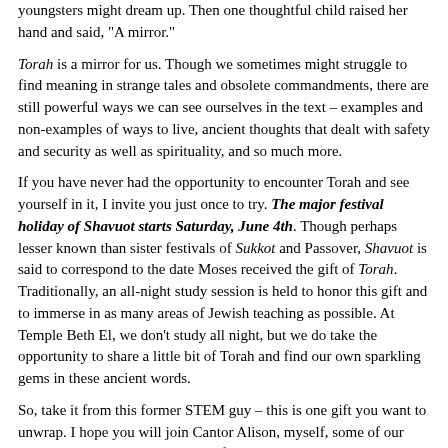youngsters might dream up. Then one thoughtful child raised her hand and said, "A mirror."
Torah is a mirror for us. Though we sometimes might struggle to find meaning in strange tales and obsolete commandments, there are still powerful ways we can see ourselves in the text – examples and non-examples of ways to live, ancient thoughts that dealt with safety and security as well as spirituality, and so much more.
If you have never had the opportunity to encounter Torah and see yourself in it, I invite you just once to try. The major festival holiday of Shavuot starts Saturday, June 4th. Though perhaps lesser known than sister festivals of Sukkot and Passover, Shavuot is said to correspond to the date Moses received the gift of Torah. Traditionally, an all-night study session is held to honor this gift and to immerse in as many areas of Jewish teaching as possible. At Temple Beth El, we don't study all night, but we do take the opportunity to share a little bit of Torah and find our own sparkling gems in these ancient words.
So, take it from this former STEM guy – this is one gift you want to unwrap. I hope you will join Cantor Alison, myself, some of our adult choir members, and a host of others as we do what so many Jews have done for generations going all the way back to ancient times – celebrate the gift of Torah.